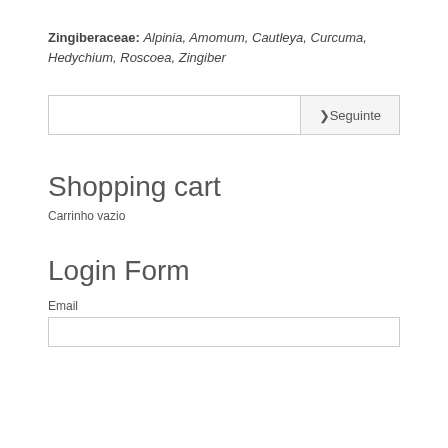Zingiberaceae: Alpinia, Amomum, Cautleya, Curcuma, Hedychium, Roscoea, Zingiber
[Figure (screenshot): A search bar with an empty text input field and a 'Seguinte' (Next) button on the right side]
Shopping cart
Carrinho vazio
Login Form
Email
[Figure (screenshot): An empty email input text field]